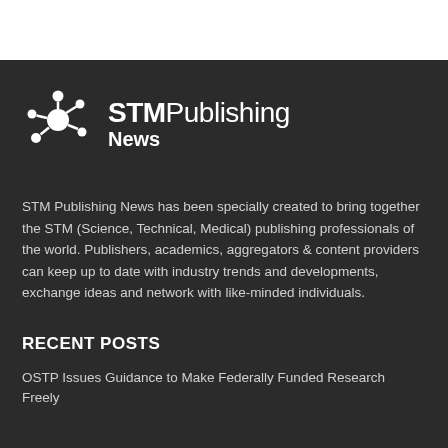[Figure (logo): STM Publishing News logo: network/molecule icon in white on dark background with text 'STMPublishing News']
STM Publishing News has been specially created to bring together the STM (Science, Technical, Medical) publishing professionals of the world. Publishers, academics, aggregators & content providers can keep up to date with industry trends and developments, exchange ideas and network with like-minded individuals.
RECENT POSTS
OSTP Issues Guidance to Make Federally Funded Research Freely